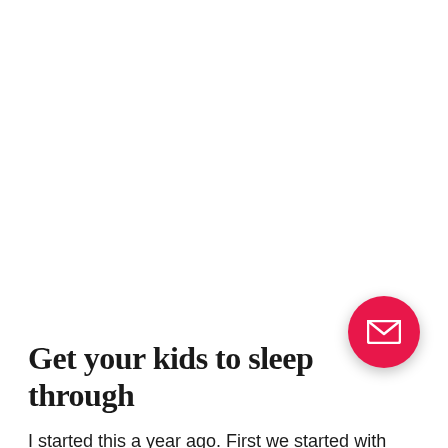[Figure (other): Pink/red circular email button icon with white envelope symbol]
Get your kids to sleep through
I started this a year ago. First we started with small light rules; like before bed, everyone gets a last drink of water and has to go to the bathroom. If in the middle of the night they